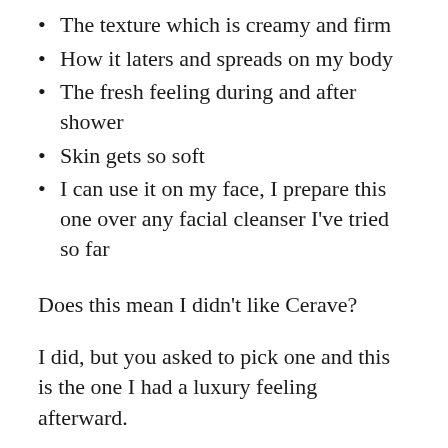The texture which is creamy and firm
How it laters and spreads on my body
The fresh feeling during and after shower
Skin gets so soft
I can use it on my face, I prepare this one over any facial cleanser I’ve tried so far
Does this mean I didn’t like Cerave?
I did, but you asked to pick one and this is the one I had a luxury feeling afterward.
Also I love a little bit of lather and the idea of having an amazing product for the face and body saves me time and money.